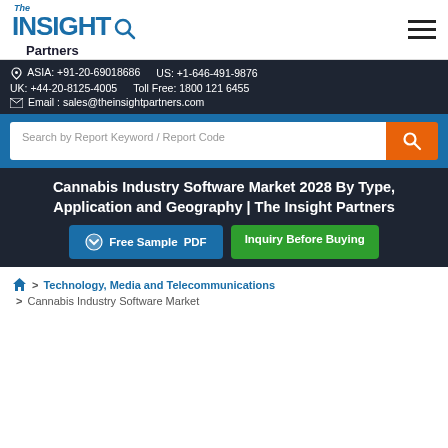[Figure (logo): The Insight Partners logo with magnifier icon]
ASIA: +91-20-69018686   US: +1-646-491-9876
UK: +44-20-8125-4005   Toll Free: 1800 121 6455
Email : sales@theinsightpartners.com
Search by Report Keyword / Report Code
Cannabis Industry Software Market 2028 By Type, Application and Geography | The Insight Partners
Free Sample PDF
Inquiry Before Buying
> Technology, Media and Telecommunications
> Cannabis Industry Software Market